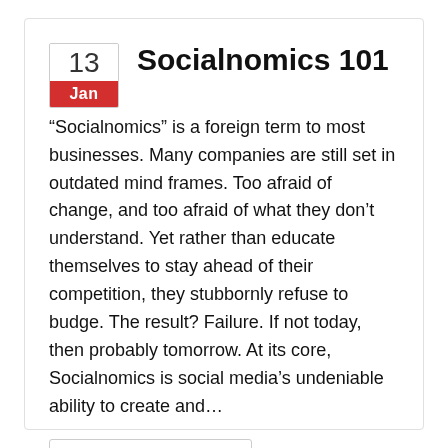Socialnomics 101
“Socialnomics” is a foreign term to most businesses. Many companies are still set in outdated mind frames. Too afraid of change, and too afraid of what they don’t understand. Yet rather than educate themselves to stay ahead of their competition, they stubbornly refuse to budge. The result? Failure. If not today, then probably tomorrow. At its core, Socialnomics is social media’s undeniable ability to create and…
READ MORE